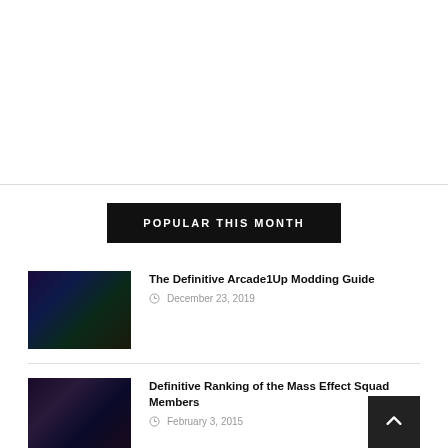POPULAR THIS MONTH
The Definitive Arcade1Up Modding Guide
December 23, 2019
Definitive Ranking of the Mass Effect Squad Members
February 3, 2015